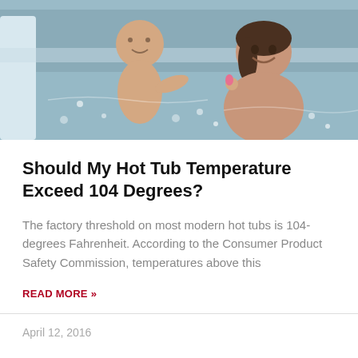[Figure (photo): A woman and a toddler/baby in a hot tub with bubbling water. The baby is sitting on the edge and the woman is smiling.]
Should My Hot Tub Temperature Exceed 104 Degrees?
The factory threshold on most modern hot tubs is 104-degrees Fahrenheit. According to the Consumer Product Safety Commission, temperatures above this
READ MORE »
April 12, 2016